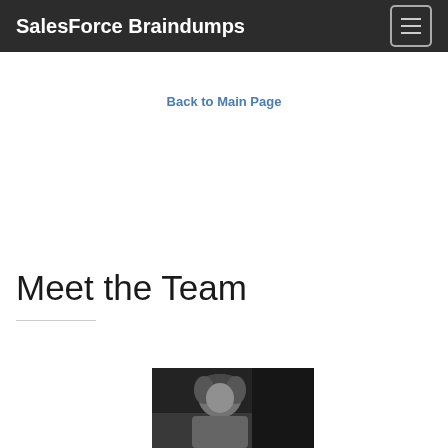SalesForce Braindumps
Back to Main Page
Meet the Team
[Figure (photo): Black and white photograph of a person, partially visible, showing head and upper body]